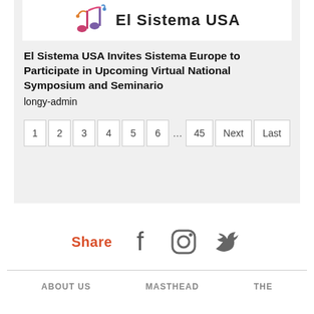[Figure (logo): El Sistema USA logo with colorful musical notes and text]
El Sistema USA Invites Sistema Europe to Participate in Upcoming Virtual National Symposium and Seminario
longy-admin
1 2 3 4 5 6 … 45 Next Last
Share
ABOUT US   MASTHEAD   THE